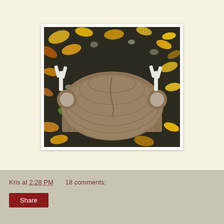[Figure (photo): A hand-knitted brown hat with white antler decorations laid on a bed of autumn leaves (yellow, brown, green) outdoors. The hat has a ribbed brim and a knit texture body with two white fabric antlers and round ear accents on the sides.]
Kris at 2:28 PM    18 comments:
Share